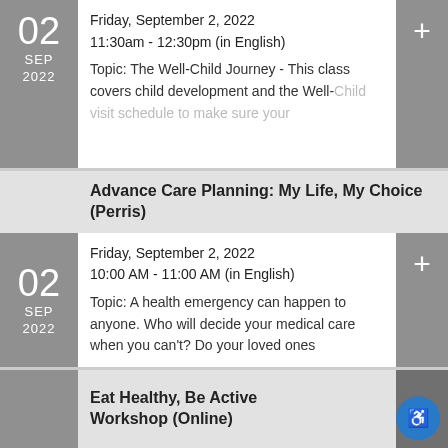Friday, September 2, 2022
11:30am - 12:30pm (in English)

Topic: The Well-Child Journey - This class covers child development and the Well-Child visit schedule to make sure your
Advance Care Planning: My Life, My Choice (Perris)
Friday, September 2, 2022
10:00 AM - 11:00 AM (in English)

Topic: A health emergency can happen to anyone. Who will decide your medical care when you can't? Do your loved ones
Eat Healthy, Be Active Workshop (Online)